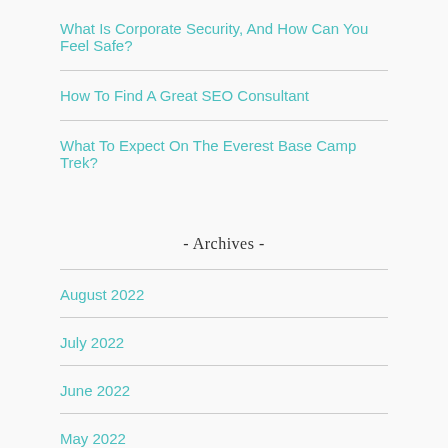What Is Corporate Security, And How Can You Feel Safe?
How To Find A Great SEO Consultant
What To Expect On The Everest Base Camp Trek?
- Archives -
August 2022
July 2022
June 2022
May 2022